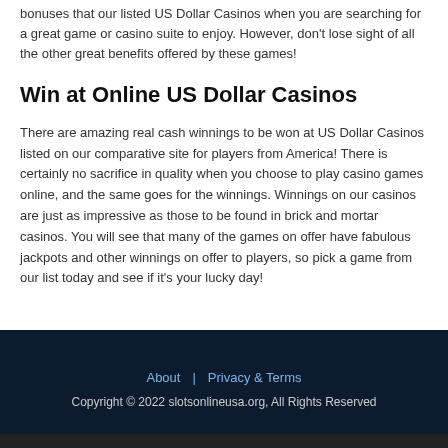bonuses that our listed US Dollar Casinos when you are searching for a great game or casino suite to enjoy. However, don't lose sight of all the other great benefits offered by these games!
Win at Online US Dollar Casinos
There are amazing real cash winnings to be won at US Dollar Casinos listed on our comparative site for players from America! There is certainly no sacrifice in quality when you choose to play casino games online, and the same goes for the winnings. Winnings on our casinos are just as impressive as those to be found in brick and mortar casinos. You will see that many of the games on offer have fabulous jackpots and other winnings on offer to players, so pick a game from our list today and see if it's your lucky day!
About | Privacy & Terms
Copyright © 2022 slotsonlineusa.org, All Rights Reserved